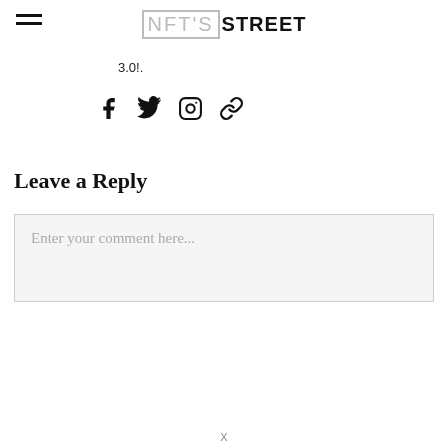NFT'S STREET
3.0!.
[Figure (other): Social media icons: Facebook, Twitter, Instagram, Link]
Leave a Reply
Enter your comment here...
X